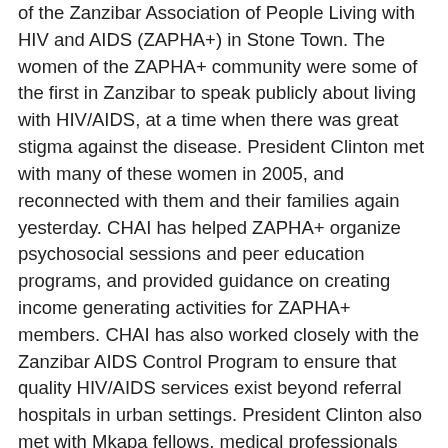of the Zanzibar Association of People Living with HIV and AIDS (ZAPHA+) in Stone Town. The women of the ZAPHA+ community were some of the first in Zanzibar to speak publicly about living with HIV/AIDS, at a time when there was great stigma against the disease. President Clinton met with many of these women in 2005, and reconnected with them and their families again yesterday. CHAI has helped ZAPHA+ organize psychosocial sessions and peer education programs, and provided guidance on creating income generating activities for ZAPHA+ members. CHAI has also worked closely with the Zanzibar AIDS Control Program to ensure that quality HIV/AIDS services exist beyond referral hospitals in urban settings. President Clinton also met with Mkapa fellows, medical professionals being trained in HIV/AIDS clinical care and treatment through a program he established with the former President of Tanzania Benjamin Mkapa. The Mkapa Fellows Program trains health professionals who will work in underserved regions, especially in rural areas with limited access to health services. The program also provides administrative training, to improve management throughout the Tanzanian health care